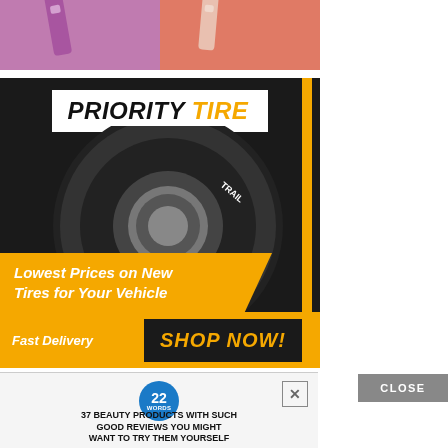[Figure (photo): Top advertisement banner with beauty/cosmetic products on purple and coral background]
[Figure (illustration): Priority Tire advertisement: logo at top reading PRIORITY TIRE, large off-road tire image, yellow banner with text 'Lowest Prices on New Tires for Your Vehicle', bottom bar with 'Fast Delivery' and 'SHOP NOW!' button, orange vertical bar on right side]
[Figure (screenshot): Bottom advertisement with blue circle badge showing '22 WORDS', X close button, and text '37 BEAUTY PRODUCTS WITH SUCH GOOD REVIEWS YOU MIGHT WANT TO TRY THEM YOURSELF']
CLOSE